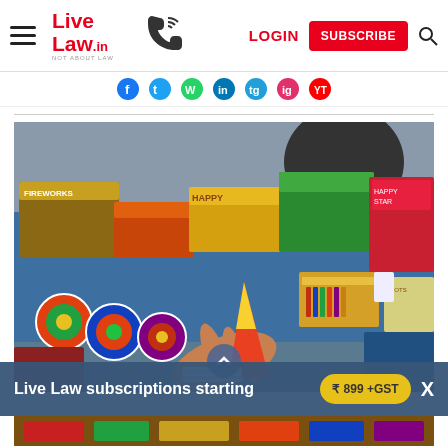Live Law.in - LOGIN | SUBSCRIBE
[Figure (photo): A market stall displaying various colourful fireworks products and boxes laid out on a blue table; a hand holds a cone-shaped firework in the foreground.]
Live Law subscriptions starting
₹ 899 +GST